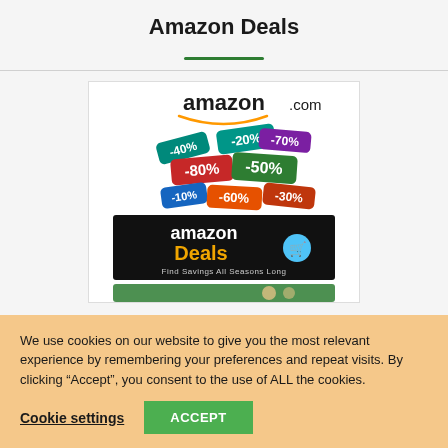Amazon Deals
[Figure (screenshot): Amazon.com logo with colorful discount percentage tags (-20%, -80%, -50%, -70%, -60%, -10%, -30%) and an Amazon Deals banner reading 'Find Savings All Seasons Long' with a shopping cart icon, plus partial view of more discount graphics below]
We use cookies on our website to give you the most relevant experience by remembering your preferences and repeat visits. By clicking “Accept”, you consent to the use of ALL the cookies.
Cookie settings
ACCEPT